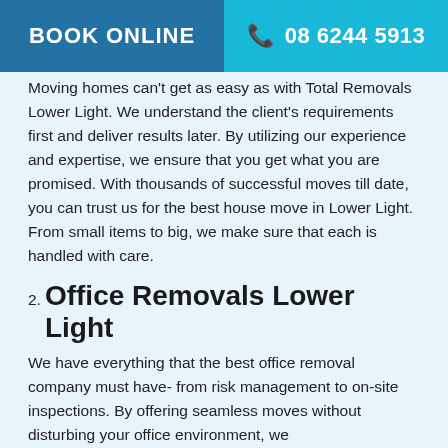BOOK ONLINE | 08 6244 5913
Moving homes can't get as easy as with Total Removals Lower Light. We understand the client's requirements first and deliver results later. By utilizing our experience and expertise, we ensure that you get what you are promised. With thousands of successful moves till date, you can trust us for the best house move in Lower Light. From small items to big, we make sure that each is handled with care.
2. Office Removals Lower Light
We have everything that the best office removal company must have- from risk management to on-site inspections. By offering seamless moves without disturbing your office environment, we